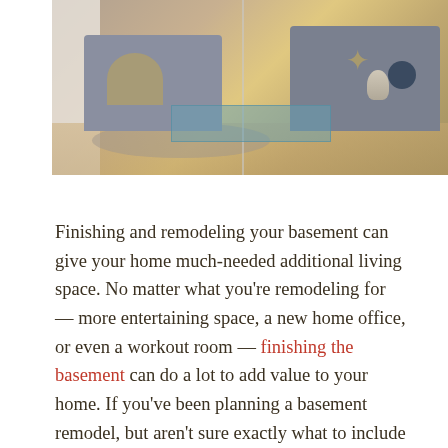[Figure (photo): Interior living room photo showing gray sofas, a glass coffee table with star decorations, a round gold side table, and a light wood floor. The image appears to be a split or composite of two similar living room scenes.]
Finishing and remodeling your basement can give your home much-needed additional living space. No matter what you're remodeling for — more entertaining space, a new home office, or even a workout room — finishing the basement can do a lot to add value to your home. If you've been planning a basement remodel, but aren't sure exactly what to include in your new space, here are 7 modern basement remodel ideas that can help you make the most of your new living space while adding value to